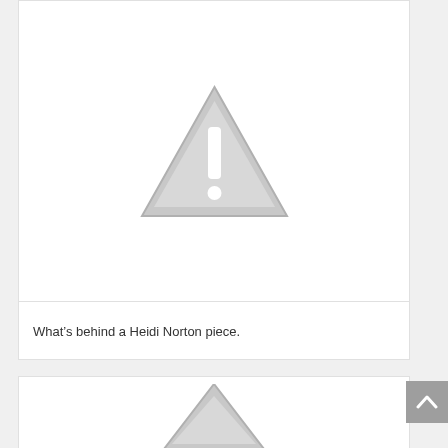[Figure (other): Warning triangle icon with exclamation mark, gray color, placeholder image indicator]
What’s behind a Heidi Norton piece.
[Figure (other): Partially visible warning triangle icon at bottom of page, gray color, placeholder image indicator]